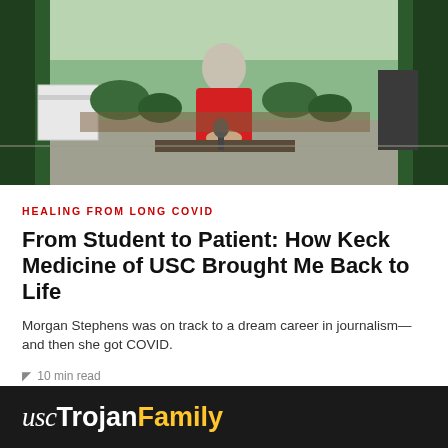[Figure (photo): Person in red top standing outdoors at a broadcast desk with microphone, green plants and pavement in background]
HEALING FROM LONG COVID
From Student to Patient: How Keck Medicine of USC Brought Me Back to Life
Morgan Stephens was on track to a dream career in journalism—and then she got COVID.
10 min read
# Alumni Life, Health, Health Care, Keck Medicine
usc Trojan Family